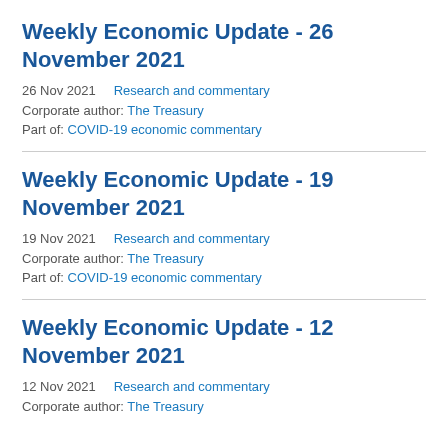Weekly Economic Update - 26 November 2021
26 Nov 2021    Research and commentary
Corporate author: The Treasury
Part of: COVID-19 economic commentary
Weekly Economic Update - 19 November 2021
19 Nov 2021    Research and commentary
Corporate author: The Treasury
Part of: COVID-19 economic commentary
Weekly Economic Update - 12 November 2021
12 Nov 2021    Research and commentary
Corporate author: The Treasury